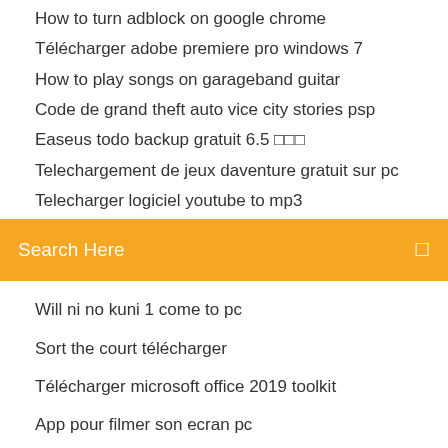How to turn adblock on google chrome
Télécharger adobe premiere pro windows 7
How to play songs on garageband guitar
Code de grand theft auto vice city stories psp
Easeus todo backup gratuit 6.5 □□□
Telechargement de jeux daventure gratuit sur pc
Telecharger logiciel youtube to mp3
Search Here
Will ni no kuni 1 come to pc
Sort the court télécharger
Télécharger microsoft office 2019 toolkit
App pour filmer son ecran pc
Nota: cuando se descarga el programa de instalación de Flash Player con la versión de 64 bits de Internet Explorer, se descarga el programa de instalación de 64 bits. Si tanto la versión de 32 bits como la versión de 64 bits de Internet Explorer están presentes, se